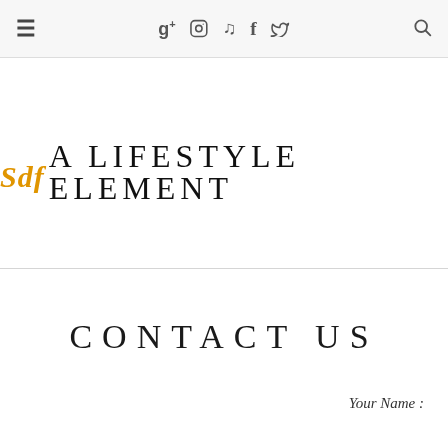≡  g+  ☷  ℗  f  𝐭  🔍
[Figure (logo): Sdf A LIFESTYLE ELEMENT logo with 'Sdf' in orange italic script and 'A LIFESTYLE ELEMENT' in black serif uppercase letters]
CONTACT US
Your Name :